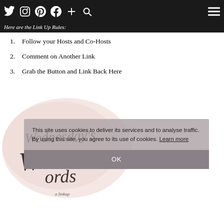Social media icons navigation bar with hamburger menu
Here are the Link Up Rules:
Follow your Hosts and Co-Hosts
Comment on Another Link
Grab the Button and Link Back Here
[Figure (illustration): Wednesday's Words linkup button with handwritten calligraphy text on pink watercolor background]
This site uses cookies to deliver its services and to analyse traffic. By using this site, you agree to its use of cookies. Learn more
OK